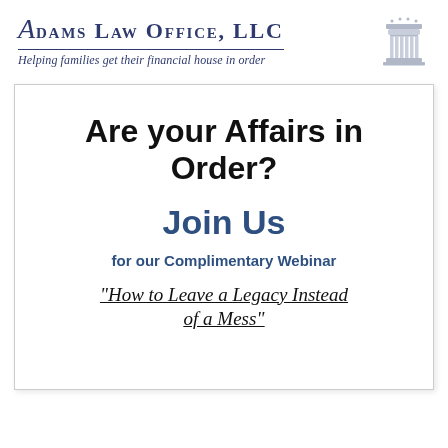Adams Law Office, LLC
Helping families get their financial house in order
Are your Affairs in Order?
Join Us
for our Complimentary Webinar
"How to Leave a Legacy Instead of a Mess"